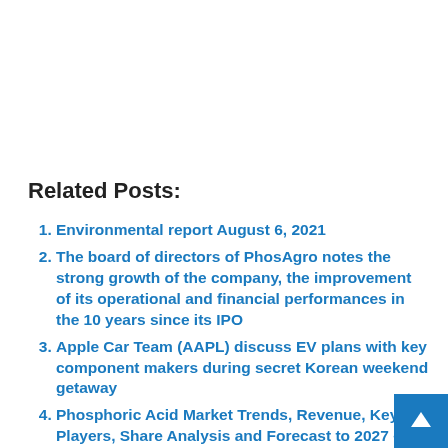Related Posts:
Environmental report August 6, 2021
The board of directors of PhosAgro notes the strong growth of the company, the improvement of its operational and financial performances in the 10 years since its IPO
Apple Car Team (AAPL) discuss EV plans with key component makers during secret Korean weekend getaway
Phosphoric Acid Market Trends, Revenue, Key Players, Share Analysis and Forecast to 2027 – The Manomet Current